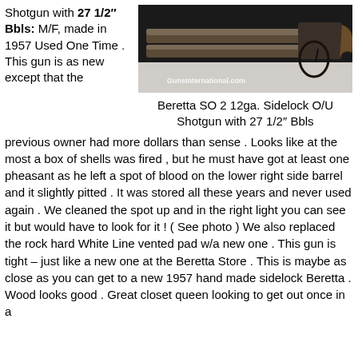Shotgun with 27 1/2" Bbls: M/F, made in 1957 Used One Time . This gun is as new except that the
[Figure (photo): Photo of a Beretta SO 2 12ga. Sidelock O/U shotgun showing the side profile of the barrels and action, with a GunsinternationalEcom watermark.]
Beretta SO 2 12ga. Sidelock O/U Shotgun with 27 1/2" Bbls
previous owner had more dollars than sense . Looks like at the most a box of shells was fired , but he must have got at least one pheasant as he left a spot of blood on the lower right side barrel and it slightly pitted . It was stored all these years and never used again . We cleaned the spot up and in the right light you can see it but would have to look for it ! ( See photo ) We also replaced the rock hard White Line vented pad w/a new one . This gun is tight – just like a new one at the Beretta Store . This is maybe as close as you can get to a new 1957 hand made sidelock Beretta . Wood looks good . Great closet queen looking to get out once in a